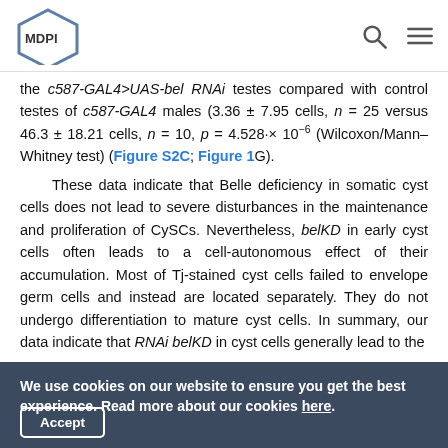MDPI
the c587-GAL4>UAS-bel RNAi testes compared with control testes of c587-GAL4 males (3.36 ± 7.95 cells, n = 25 versus 46.3 ± 18.21 cells, n = 10, p = 4.528·× 10−6 (Wilcoxon/Mann–Whitney test) (Figure S2C; Figure 1G).
These data indicate that Belle deficiency in somatic cyst cells does not lead to severe disturbances in the maintenance and proliferation of CySCs. Nevertheless, belKD in early cyst cells often leads to a cell-autonomous effect of their accumulation. Most of Tj-stained cyst cells failed to envelope germ cells and instead are located separately. They do not undergo differentiation to mature cyst cells. In summary, our data indicate that RNAi belKD in cyst cells generally lead to the
We use cookies on our website to ensure you get the best experience. Read more about our cookies here.
Accept